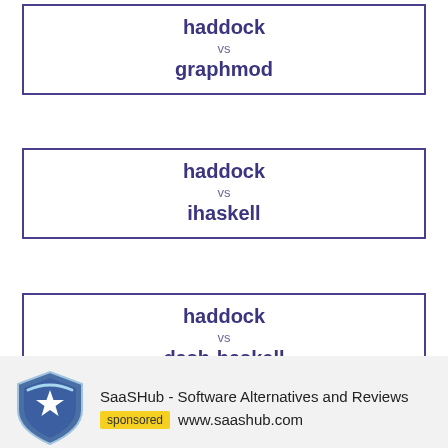haddock vs graphmod
haddock vs ihaskell
haddock vs dash-haskell
[Figure (logo): SaaSHub shield logo with star]
SaaSHub - Software Alternatives and Reviews sponsored www.saashub.com